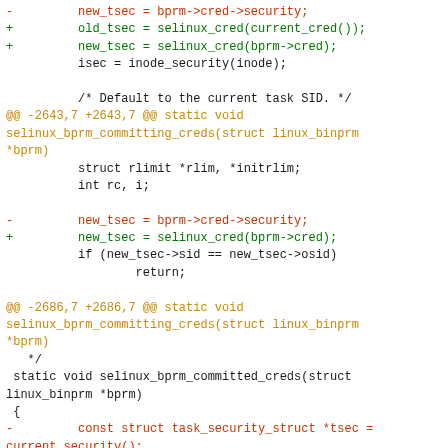[Figure (screenshot): A code diff showing changes to SELinux credential handling in Linux kernel source, with removed lines in red, added lines in green, and hunk headers in orange/yellow. The diff shows replacements of bprm->cred->security with selinux_cred() calls.]